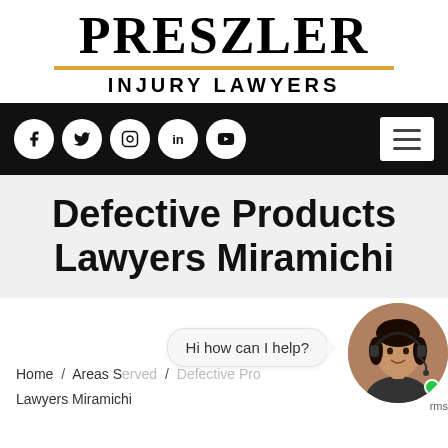[Figure (logo): Preszler Injury Lawyers logo with gold horizontal rule]
[Figure (screenshot): Black navigation bar with social media icons (Facebook, Twitter, Instagram, LinkedIn, YouTube) and hamburger menu button]
Defective Products Lawyers Miramichi
[Figure (photo): Chat bubble saying 'Hi how can I help?' with female customer service agent wearing headset]
Home / Areas Served / Defective Products Lawyers Miramichi